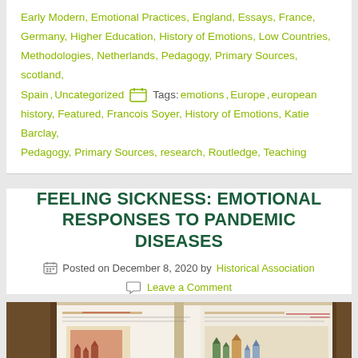Early Modern, Emotional Practices, England, Essays, France, Germany, Higher Education, History of Emotions, Low Countries, Methodologies, Netherlands, Pedagogy, Primary Sources, scotland, Spain, Uncategorized  Tags: emotions, Europe, european history, Featured, Francois Soyer, History of Emotions, Katie Barclay, Pedagogy, Primary Sources, research, Routledge, Teaching
FEELING SICKNESS: EMOTIONAL RESPONSES TO PANDEMIC DISEASES
Posted on December 8, 2020 by Historical Association
Leave a Comment
[Figure (photo): Open historic illuminated manuscript/book showing two pages with medieval illustrations including red and colored drawings of buildings, castles and text in an old script]